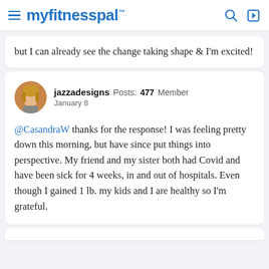myfitnesspal
but I can already see the change taking shape & I'm excited!
jazzadesigns Posts: 477 Member
January 8

@CasandraW thanks for the response! I was feeling pretty down this morning, but have since put things into perspective. My friend and my sister both had Covid and have been sick for 4 weeks, in and out of hospitals. Even though I gained 1 lb. my kids and I are healthy so I'm grateful.